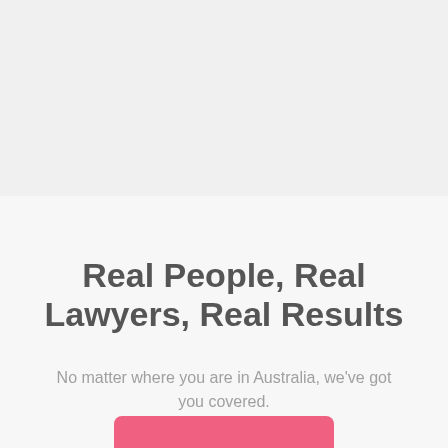[Figure (other): Light gray background image placeholder area occupying the top half of the page]
Real People, Real Lawyers, Real Results
No matter where you are in Australia, we've got you covered.